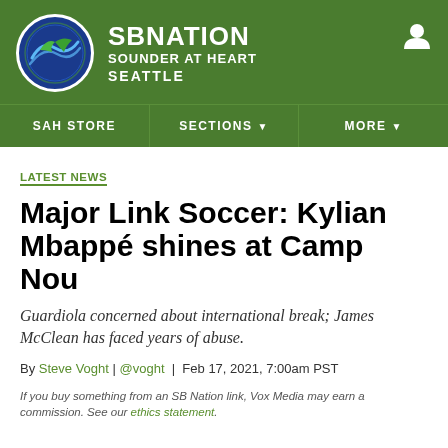[Figure (logo): SB Nation Sounder at Heart Seattle logo with circular emblem on green header background]
SAH STORE | SECTIONS | MORE
LATEST NEWS
Major Link Soccer: Kylian Mbappé shines at Camp Nou
Guardiola concerned about international break; James McClean has faced years of abuse.
By Steve Voght | @voght | Feb 17, 2021, 7:00am PST
If you buy something from an SB Nation link, Vox Media may earn a commission. See our ethics statement.